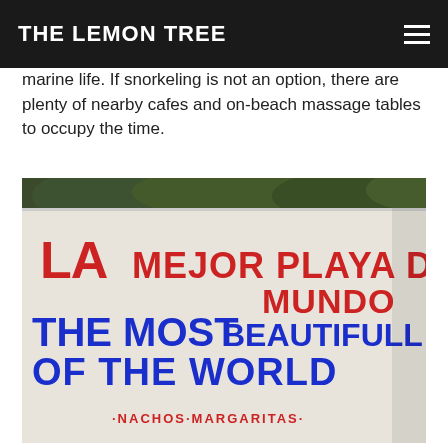THE LEMON TREE
marine life. If snorkeling is not an option, there are plenty of nearby cafes and on-beach massage tables to occupy the time.
[Figure (photo): A white painted wall with red and blue text reading 'LA MEJOR PLAYA DEL MUNDO / THE MOST BEAUTIFULL BEACH OF THE WORLD' with additional smaller text 'NACHOS MARGARITAS' at the bottom. Green foliage visible at the top of the wall.]